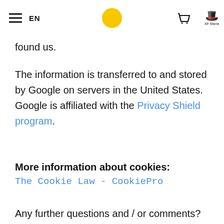EN | Mr Maria
found us.
The information is transferred to and stored by Google on servers in the United States. Google is affiliated with the Privacy Shield program.
More information about cookies:
The Cookie Law - CookiePro
Any further questions and / or comments? Please contact us via service@mrmaria.com